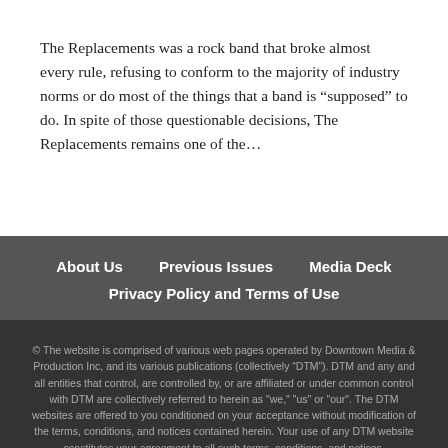The Replacements was a rock band that broke almost every rule, refusing to conform to the majority of industry norms or do most of the things that a band is “supposed” to do. In spite of those questionable decisions, The Replacements remains one of the…
About Us   Previous Issues   Media Deck   Privacy Policy and Terms of Use
© The website is comprised of various web pages operated by Downtown Media & Production Inc, and its various publications (collectively “DTM”). DTM and any and all entities that control, are controlled by, or are affiliated or under common control with DTM are collectively referred to herein as "we," "us" or "our". The DTM websites are offered to you conditioned on your acceptance without modification of the terms, conditions, and notices contained herein. Your use of any DTM website constitutes your agreement to all such terms, conditions, and notices.